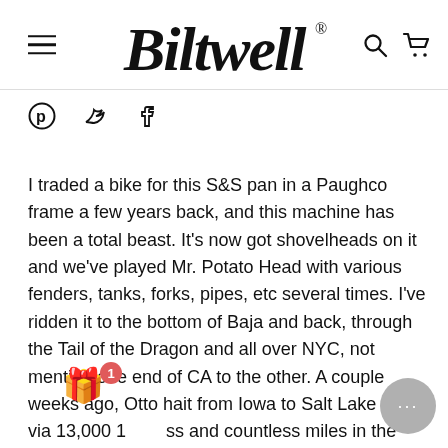Biltwell®
[Figure (logo): Biltwell script logo with hamburger menu on left, search and cart icons on right]
[Figure (infographic): Social share icons: Pinterest, Twitter, Facebook]
I traded a bike for this S&S pan in a Paughco frame a few years back, and this machine has been a total beast. It's now got shovelheads on it and we've played Mr. Potato Head with various fenders, tanks, forks, pipes, etc several times. I've ridden it to the bottom of Baja and back, through the Tail of the Dragon and all over NYC, not mention one end of CA to the other. A couple weeks ago, Otto ha it from Iowa to Salt Lake City via 13,000 1 ss and countless miles in the rain. Needl say, we are fans of this simple format. (Big S&S engine, basic frame, not much else)